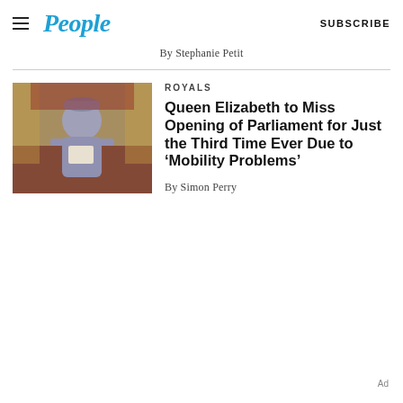People | SUBSCRIBE
By Stephanie Petit
[Figure (photo): Queen Elizabeth seated on throne in ornate gold and red chamber, wearing grey suit and hat, reading from a document]
ROYALS
Queen Elizabeth to Miss Opening of Parliament for Just the Third Time Ever Due to ‘Mobility Problems’
By Simon Perry
Ad